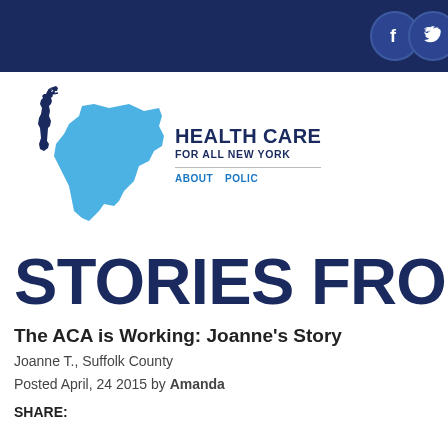Health Care For All New York - top navigation bar with social icons
[Figure (logo): Health Care For All New York logo with Statue of Liberty silhouette and New York state shape in blue]
STORIES FROM NEW YORK
The ACA is Working: Joanne’s Story
Joanne T., Suffolk County
Posted April, 24 2015 by Amanda
SHARE: